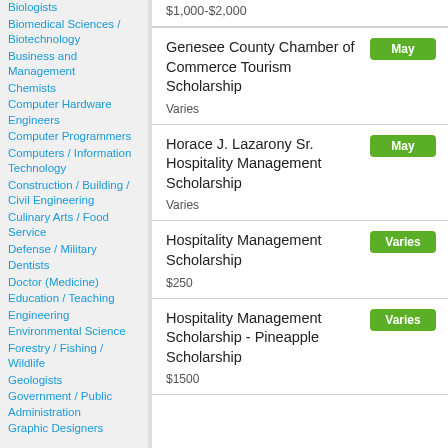Biologists
Biomedical Sciences / Biotechnology
Business and Management
Chemists
Computer Hardware Engineers
Computer Programmers
Computers / Information Technology
Construction / Building / Civil Engineering
Culinary Arts / Food Service
Defense / Military
Dentists
Doctor (Medicine)
Education / Teaching
Engineering
Environmental Science
Forestry / Fishing / Wildlife
Geologists
Government / Public Administration
Graphic Designers
$1,000-$2,000
Genesee County Chamber of Commerce Tourism Scholarship
May
Varies
Horace J. Lazarony Sr. Hospitality Management Scholarship
May
Varies
Hospitality Management Scholarship
Varies
$250
Hospitality Management Scholarship - Pineapple Scholarship
Varies
$1500